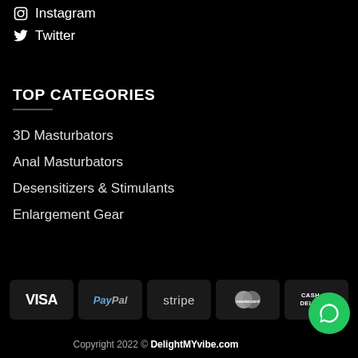Instagram
Twitter
TOP CATEGORIES
3D Masturbators
Anal Masturbators
Desensitizers & Stimulants
Enlargement Gear
[Figure (logo): Payment method badges: VISA, PayPal, stripe, MasterCard, CASH ON DELIVERY]
Copyright 2022 © DelightMYvibe.com